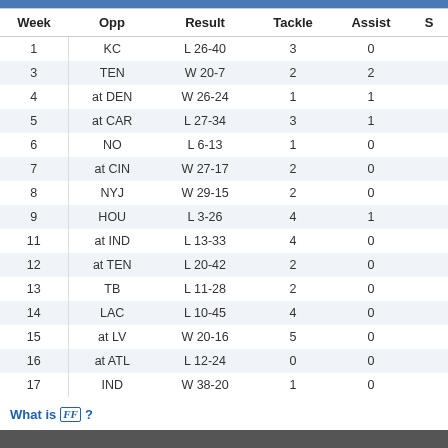| Week | Opp | Result | Tackle | Assist | S |
| --- | --- | --- | --- | --- | --- |
| 1 | KC | L 26-40 | 3 | 0 |  |
| 3 | TEN | W 20-7 | 2 | 2 |  |
| 4 | at DEN | W 26-24 | 1 | 1 |  |
| 5 | at CAR | L 27-34 | 3 | 1 |  |
| 6 | NO | L 6-13 | 1 | 0 |  |
| 7 | at CIN | W 27-17 | 2 | 0 |  |
| 8 | NYJ | W 29-15 | 2 | 0 |  |
| 9 | HOU | L 3-26 | 4 | 1 |  |
| 11 | at IND | L 13-33 | 4 | 0 |  |
| 12 | at TEN | L 20-42 | 2 | 0 |  |
| 13 | TB | L 11-28 | 2 | 0 |  |
| 14 | LAC | L 10-45 | 4 | 0 |  |
| 15 | at LV | W 20-16 | 5 | 0 |  |
| 16 | at ATL | L 12-24 | 0 | 0 |  |
| 17 | IND | W 38-20 | 1 | 0 |  |
What is FF ?
Click the icon to add a player to My FF Today Track Players. Track Players allows you, including your own custom news page and highlighting your players on stat, use My FF Today.